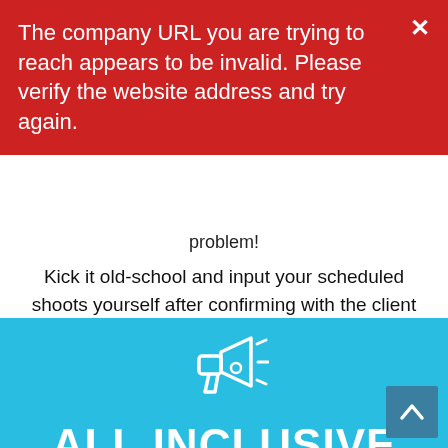The company URL you are trying to reach appears to be invalid. Please verify the website address and try again.
problem!
Kick it old-school and input your scheduled shoots yourself after confirming with the client via phone, email, etc.
[Figure (illustration): Megaphone / bullhorn icon in white outline on cyan background]
ALL INCLUSIVE
No confusing "credit" system that masks your charges.